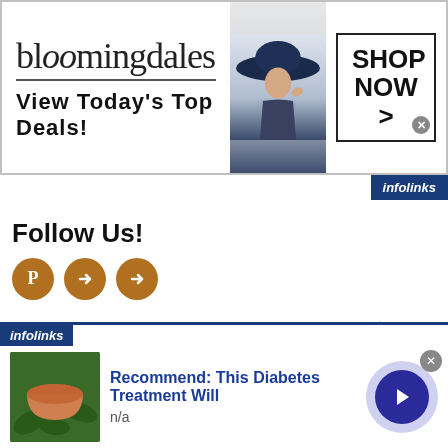[Figure (screenshot): Bloomingdales banner advertisement: logo, 'View Today's Top Deals!' text, model image, 'SHOP NOW >' button]
[Figure (logo): infolinks badge in navy blue]
Follow Us!
[Figure (infographic): Three circular brown social media share/Pinterest icons]
Search for
[Figure (infographic): infolinks popup ad: 'Recommend: This Diabetes Treatment Will' with image and navigation arrow. n/a subtext.]